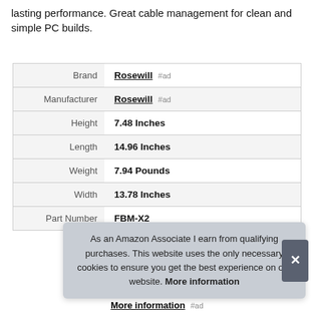lasting performance. Great cable management for clean and simple PC builds.
|  |  |
| --- | --- |
| Brand | Rosewill #ad |
| Manufacturer | Rosewill #ad |
| Height | 7.48 Inches |
| Length | 14.96 Inches |
| Weight | 7.94 Pounds |
| Width | 13.78 Inches |
| Part Number | FBM-X2 |
As an Amazon Associate I earn from qualifying purchases. This website uses the only necessary cookies to ensure you get the best experience on our website. More information
More information #ad